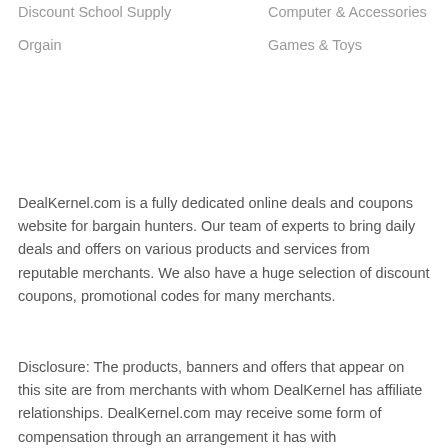Discount School Supply
Computer & Accessories
Orgain
Games & Toys
DealKernel.com is a fully dedicated online deals and coupons website for bargain hunters. Our team of experts to bring daily deals and offers on various products and services from reputable merchants. We also have a huge selection of discount coupons, promotional codes for many merchants.
Disclosure: The products, banners and offers that appear on this site are from merchants with whom DealKernel has affiliate relationships. DealKernel.com may receive some form of compensation through an arrangement it has with